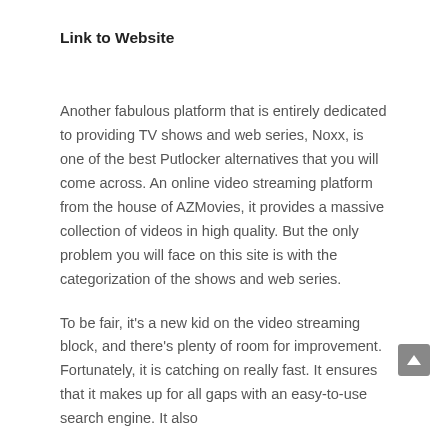Link to Website
Another fabulous platform that is entirely dedicated to providing TV shows and web series, Noxx, is one of the best Putlocker alternatives that you will come across. An online video streaming platform from the house of AZMovies, it provides a massive collection of videos in high quality. But the only problem you will face on this site is with the categorization of the shows and web series.
To be fair, it's a new kid on the video streaming block, and there's plenty of room for improvement. Fortunately, it is catching on really fast. It ensures that it makes up for all gaps with an easy-to-use search engine. It also